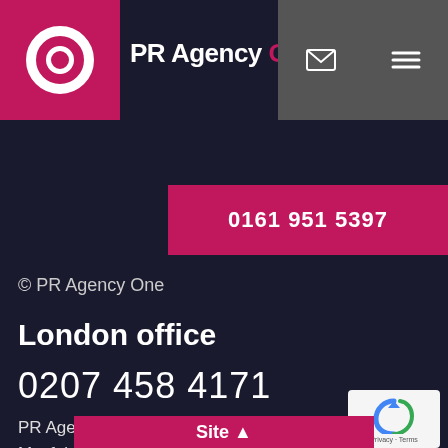[Figure (logo): PR Agency One logo with white circle/ring mark on crimson square background, followed by 'PR Agency' in white bold text and 'One' in crimson bold text]
© PR Agency One
London office
0207 458 4171
PR Agency One, London. 4 Old Park Lane, Mayfair, London, W1K 1QW
0161 951 5397